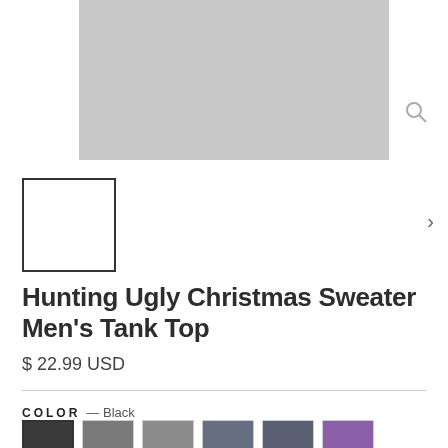[Figure (photo): Main product image area showing a light gray placeholder for the tank top, with a magnifying glass zoom icon in the top right]
[Figure (photo): Thumbnail image placeholder with a black border outline, selected state]
Hunting Ugly Christmas Sweater Men's Tank Top
$ 22.99 USD
COLOR — Black
[Figure (other): Six color swatches in a row: Black (selected, with bold border), Dark Gray, Medium Gray, Blue-Gray, Dark Blue-Gray, Purple]